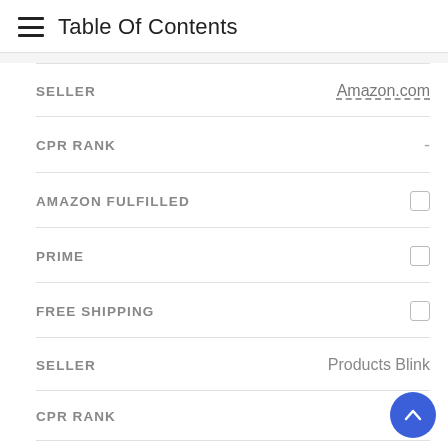Table Of Contents
| Field | Value |
| --- | --- |
| SELLER | Amazon.com |
| CPR RANK | - |
| AMAZON FULFILLED | ☐ |
| PRIME | ☐ |
| FREE SHIPPING | ☐ |
| SELLER | Products Blink |
| CPR RANK |  |